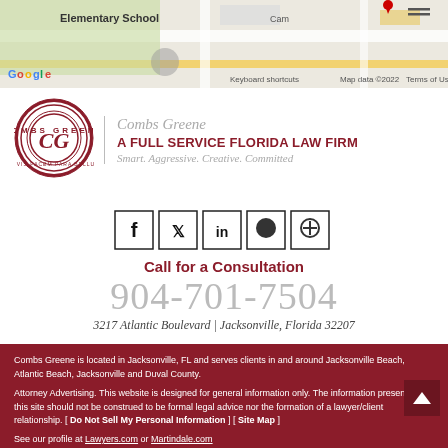[Figure (screenshot): Google Maps screenshot showing elementary school area with street names, Google logo, keyboard shortcuts, Map data 2022, Terms of Use]
[Figure (logo): Combs Greene law firm circular logo with CG monogram]
Combs Greene
A FULL SERVICE FLORIDA LAW FIRM
Smart. Aggressive. Creative. Committed
[Figure (infographic): Social media icons: Facebook, Twitter, LinkedIn, and two other icons in square borders]
Call for a Consultation
904-701-7504
3217 Atlantic Boulevard | Jacksonville, Florida 32207
Combs Greene is located in Jacksonville, FL and serves clients in and around Jacksonville Beach, Atlantic Beach, Jacksonville and Duval County.
Attorney Advertising. This website is designed for general information only. The information presented at this site should not be construed to be formal legal advice nor the formation of a lawyer/client relationship. [ Do Not Sell My Personal Information ] [ Site Map ]
See our profile at Lawyers.com or Martindale.com